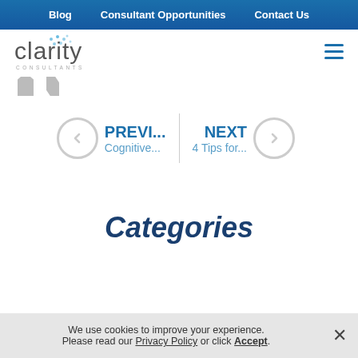Blog | Consultant Opportunities | Contact Us
[Figure (logo): Clarity Consultants logo with blue dot pattern above text]
PREVI... Cognitive...
NEXT 4 Tips for...
Categories
We use cookies to improve your experience. Please read our Privacy Policy or click Accept.